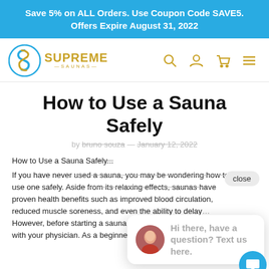Save 5% on ALL Orders. Use Coupon Code SAVE5. Offers Expire August 31, 2022
[Figure (logo): Supreme Saunas logo with circular S graphic in teal and gold, and navigation icons (search, account, cart, menu) in gold]
How to Use a Sauna Safely
by bruno souza — January 12, 2022
How to Use a Sauna Sa...
If you have never used a sauna, you may be wondering how to use one safely. Aside from its relaxing effects, saunas have proven health benefits such as improved blood circulation, reduced muscle soreness, and even the ability to delay... However, before starting a sauna routine, you should c... with your physician. As a beginner, it is essential to know how
[Figure (screenshot): Chat popup with avatar photo of a woman and text: Hi there, have a question? Text us here. Blue chat bubble button with speech icon in bottom right corner.]